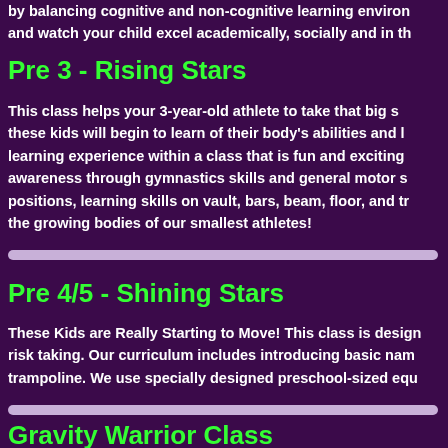by balancing cognitive and non-cognitive learning environments and watch your child excel academically, socially and in th...
Pre 3 - Rising Stars
This class helps your 3-year-old athlete to take that big step... these kids will begin to learn of their body's abilities and l... learning experience within a class that is fun and exciting... awareness through gymnastics skills and general motor s... positions, learning skills on vault, bars, beam, floor, and tr... the growing bodies of our smallest athletes!
Pre 4/5 - Shining Stars
These Kids are Really Starting to Move! This class is design... risk taking. Our curriculum includes introducing basic nam... trampoline. We use specially designed preschool-sized equ...
Gravity Warrior Class